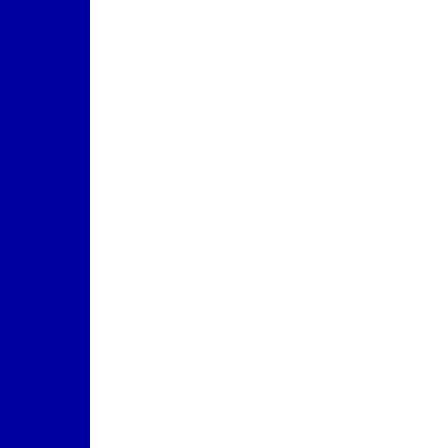Howev miners
I'm ok live in- Becau
And th
The C
Anony
i gave i'm not anywh i play e ) but i and i'm you m what a and yo win of